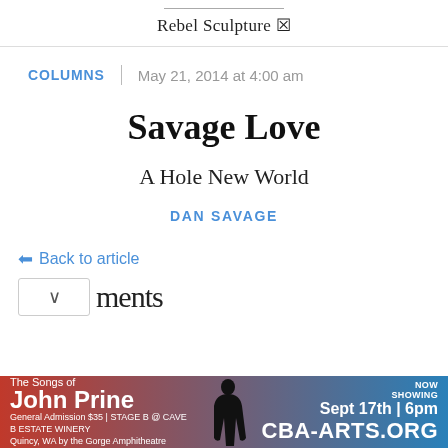Rebel Sculpture ☒
COLUMNS | May 21, 2014 at 4:00 am
Savage Love
A Hole New World
DAN SAVAGE
⬅ Back to article
[Figure (other): Advertisement banner for The Songs of John Prine, Sept 17th 6pm, CBA-ARTS.ORG]